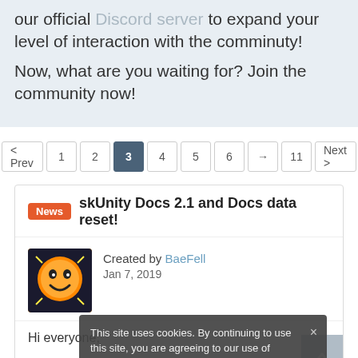our official Discord server to expand your level of interaction with the comminuty!
Now, what are you waiting for? Join the community now!
< Prev  1  2  3  4  5  6  →  11  Next >
News skUnity Docs 2.1 and Docs data reset!
Created by BaeFell
Jan 7, 2019
Hi everyone,
Welcome to skUnity Docs 2.1!
This site uses cookies. By continuing to use this site, you are agreeing to our use of cookies. Learn More.